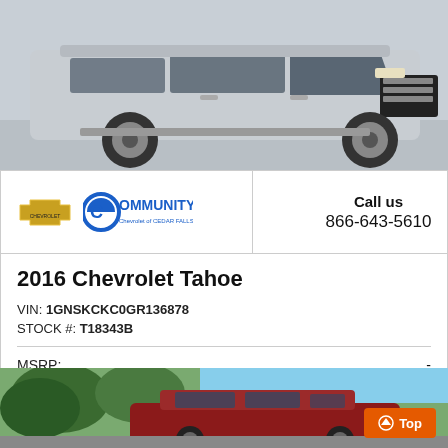[Figure (photo): Silver Chevrolet Tahoe SUV parked, viewed from side-front angle]
[Figure (logo): Chevrolet bowtie logo and Community Chevrolet of Cedar Falls logo]
Call us
866-643-5610
2016 Chevrolet Tahoe
VIN: 1GNSKCKC0GR136878
STOCK #: T18343B
MSRP:    -
Dealer Discount    Call Us
CLICK HERE
$39,219
[Figure (photo): Red SUV parked outdoors with trees in background]
⬆ Top